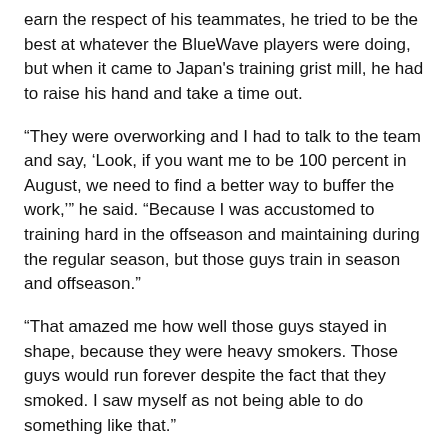earn the respect of his teammates, he tried to be the best at whatever the BlueWave players were doing, but when it came to Japan's training grist mill, he had to raise his hand and take a time out.
“They were overworking and I had to talk to the team and say, ‘Look, if you want me to be 100 percent in August, we need to find a better way to buffer the work,’” he said. “Because I was accustomed to training hard in the offseason and maintaining during the regular season, but those guys train in season and offseason.”
“That amazed me how well those guys stayed in shape, because they were heavy smokers. Those guys would run forever despite the fact that they smoked. I saw myself as not being able to do something like that.”
A way of life